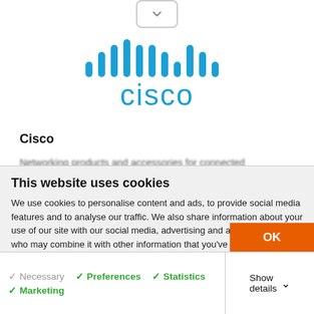[Figure (logo): Cisco logo with stylized bars and 'cisco' text in cyan/blue]
Cisco
Networking products and accessories for connected
This website uses cookies
We use cookies to personalise content and ads, to provide social media features and to analyse our traffic. We also share information about your use of our site with our social media, advertising and analytics partners who may combine it with other information that you've provided to them or that they've collected from your use of their services.
OK
Necessary  Preferences  Statistics  Show details  Marketing